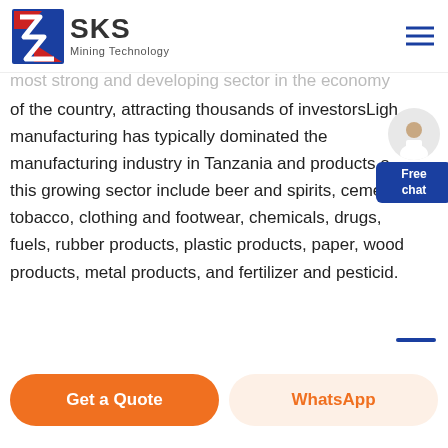[Figure (logo): SKS Mining Technology logo with red/blue lightning bolt icon and company name]
most strong and developing sector in the economy of the country, attracting thousands of investorsLight manufacturing has typically dominated the manufacturing industry in Tanzania and products of this growing sector include beer and spirits, cement, tobacco, clothing and footwear, chemicals, drugs, fuels, rubber products, plastic products, paper, wood products, metal products, and fertilizer and pesticid.
Get a Quote
WhatsApp